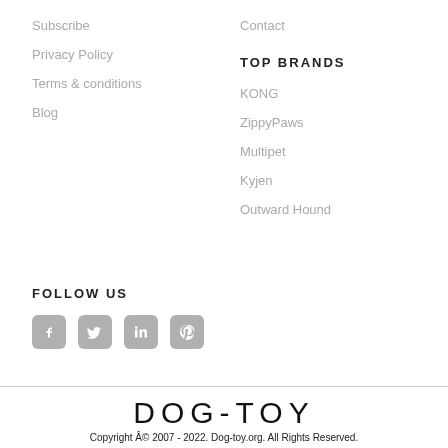Subscribe
Privacy Policy
Terms & conditions
Blog
Contact
TOP BRANDS
KONG
ZippyPaws
Multipet
Kyjen
Outward Hound
FOLLOW US
[Figure (illustration): Social media icons: Facebook, Twitter, LinkedIn, Pinterest]
DOG-TOY
Copyright Â© 2007 - 2022. Dog-toy.org. All Rights Reserved.